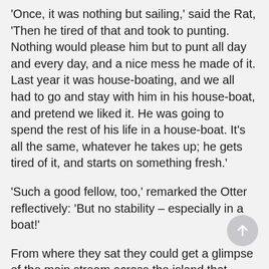'Once, it was nothing but sailing,' said the Rat, 'Then he tired of that and took to punting. Nothing would please him but to punt all day and every day, and a nice mess he made of it. Last year it was house-boating, and we all had to go and stay with him in his house-boat, and pretend we liked it. He was going to spend the rest of his life in a house-boat. It's all the same, whatever he takes up; he gets tired of it, and starts on something fresh.'
'Such a good fellow, too,' remarked the Otter reflectively: 'But no stability – especially in a boat!'
From where they sat they could get a glimpse of the main stream across the island that separated them; and just then